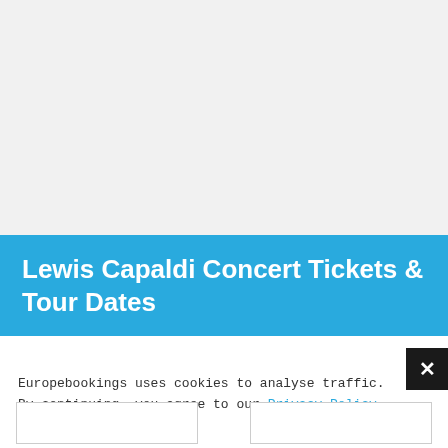Lewis Capaldi Concert Tickets & Tour Dates
Europebookings uses cookies to analyse traffic. By continuing, you agree to our Privacy Policy